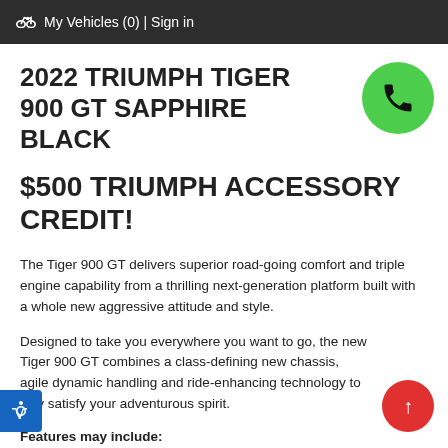🚲 My Vehicles (0) | Sign in
2022 TRIUMPH TIGER 900 GT SAPPHIRE BLACK
$500 TRIUMPH ACCESSORY CREDIT!
[Figure (illustration): Green circular phone call button with black phone handset icon]
The Tiger 900 GT delivers superior road-going comfort and triple engine capability from a thrilling next-generation platform built with a whole new aggressive attitude and style.
Designed to take you everywhere you want to go, the new Tiger 900 GT combines a class-defining new chassis, agile dynamic handling and ride-enhancing technology to fully satisfy your adventurous spirit.
Features may include: